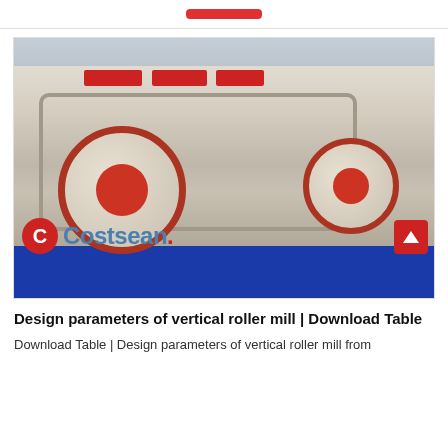[Figure (photo): Photograph of a vertical roller mill machine with cream/white metal frame, red circular wheel accents, and a blue base, displayed in an industrial setting with a concrete wall background. Costsean watermark logo visible at bottom left.]
Design parameters of vertical roller mill | Download Table
Download Table | Design parameters of vertical roller mill from